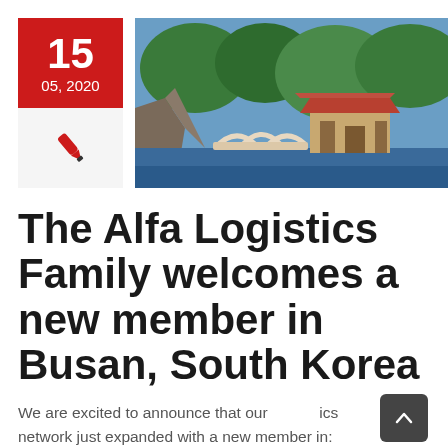[Figure (other): Date block showing 15 05, 2020 in red, with a pen icon below, and a scenic photo of Busan, South Korea coastal temple with arched bridge]
The Alfa Logistics Family welcomes a new member in Busan, South Korea
We are excited to announce that our logistics network just expanded with a new member in: BUSAN, SOUTH KOREA...